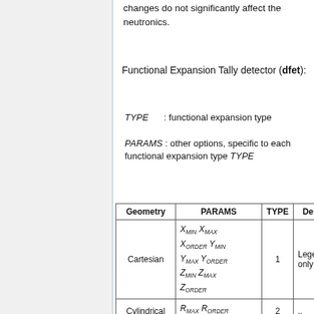changes do not significantly affect the neutronics.
Functional Expansion Tally detector (dfet):
TYPE : functional expansion type
PARAMS : other options, specific to each functional expansion type TYPE
| Geometry | PARAMS | TYPE | Description |
| --- | --- | --- | --- |
| Cartesian | X_MIN X_MAX X_ORDER Y_MIN Y_MAX Y_ORDER Z_MIN Z_MAX Z_ORDER | 1 | Legend only |
| Cylindrical | R_MAX R_ORDER H_MIN H_MAX H... | 2 | .. |